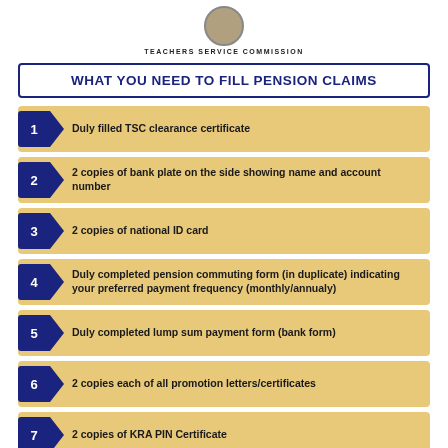TEACHERS SERVICE COMMISSION
WHAT YOU NEED TO FILL PENSION CLAIMS
Duly filled TSC clearance certificate
2 copies of bank plate on the side showing name and account number
2 copies of national ID card
Duly completed pension commuting form (in duplicate) indicating your preferred payment frequency (monthly/annualy)
Duly completed lump sum payment form (bank form)
2 copies each of all promotion letters/certificates
2 copies of KRA PIN Certificate
Copies of Marriage Certificates/Affidavits ( for female